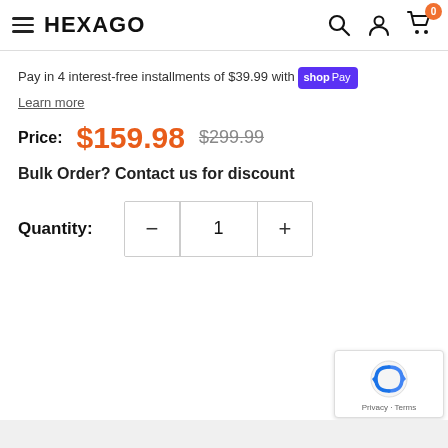HEXAGO — navigation header with hamburger menu, search, account, and cart icons
Pay in 4 interest-free installments of $39.99 with shop Pay
Learn more
Price: $159.98  $299.99
Bulk Order? Contact us for discount
Quantity: 1